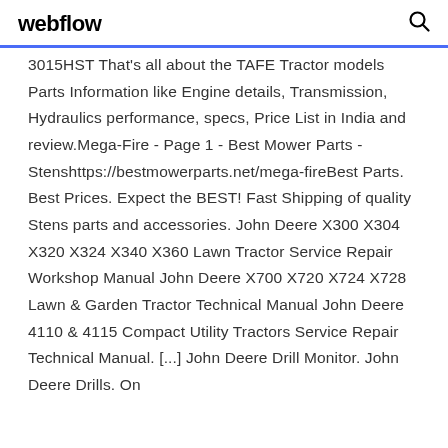webflow
3015HST That's all about the TAFE Tractor models Parts Information like Engine details, Transmission, Hydraulics performance, specs, Price List in India and review.Mega-Fire - Page 1 - Best Mower Parts - Stenshttps://bestmowerparts.net/mega-fireBest Parts. Best Prices. Expect the BEST! Fast Shipping of quality Stens parts and accessories. John Deere X300 X304 X320 X324 X340 X360 Lawn Tractor Service Repair Workshop Manual John Deere X700 X720 X724 X728 Lawn & Garden Tractor Technical Manual John Deere 4110 & 4115 Compact Utility Tractors Service Repair Technical Manual. [...] John Deere Drill Monitor. John Deere Drills. On